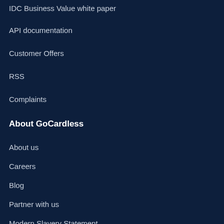IDC Business Value white paper
API documentation
Customer Offers
RSS
Complaints
About GoCardless
About us
Careers
Blog
Partner with us
Modern Slavery Statement
Contact Us
Sales